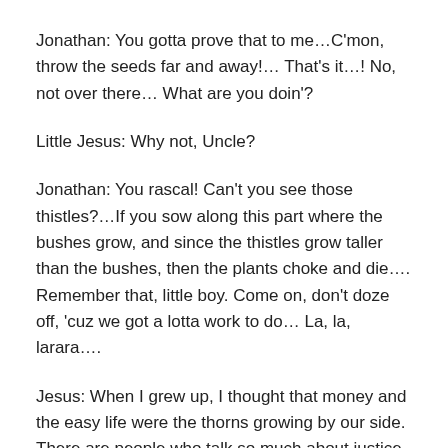Jonathan: You gotta prove that to me…C'mon, throw the seeds far and away!… That's it…! No, not over there… What are you doin'?
Little Jesus: Why not, Uncle?
Jonathan: You rascal! Can't you see those thistles?…If you sow along this part where the bushes grow, and since the thistles grow taller than the bushes, then the plants choke and die…. Remember that, little boy. Come on, don't doze off, 'cuz we got a lotta work to do… La, la, larara….
Jesus: When I grew up, I thought that money and the easy life were the thorns growing by our side. There are people who talk so much about justice and they firmly agree. They want so many changes for the world, and beautiful words fall from their lips… But when they're asked to share what they have with their neighbors, they have a change of heart… and they shy away… Yes my